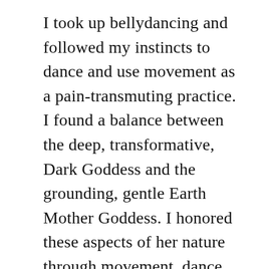I took up bellydancing and followed my instincts to dance and use movement as a pain-transmuting practice. I found a balance between the deep, transformative, Dark Goddess and the grounding, gentle Earth Mother Goddess. I honored these aspects of her nature through movement, dance and natural forms of healing.